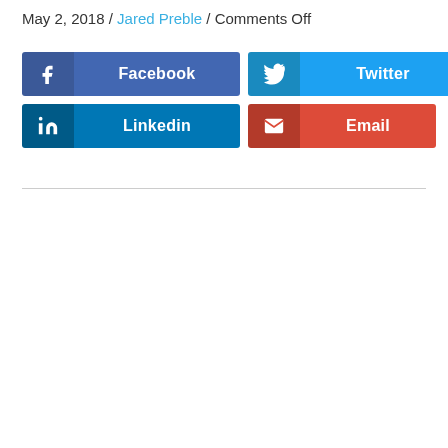May 2, 2018 / Jared Preble / Comments Off
[Figure (other): Social share buttons: Facebook, Twitter, LinkedIn, Email]